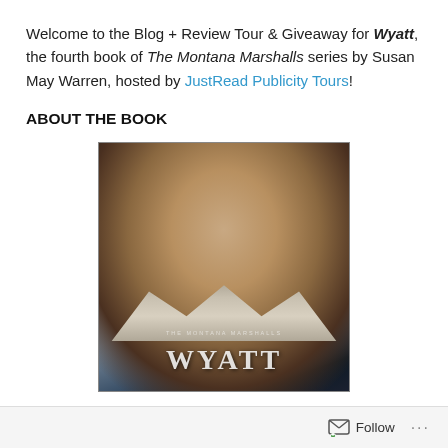Welcome to the Blog + Review Tour & Giveaway for Wyatt, the fourth book of The Montana Marshalls series by Susan May Warren, hosted by JustRead Publicity Tours!
ABOUT THE BOOK
[Figure (photo): Book cover of 'Wyatt' from The Montana Marshalls series by Susan May Warren. Shows a young man wearing a dark cowboy hat with a decorative band, looking straight at camera with an intense expression, wearing a shearling-collared jacket. Background shows mountains and moody sky. Text at bottom reads 'THE MONTANA MARSHALLS' and 'WYATT'.]
Follow ...